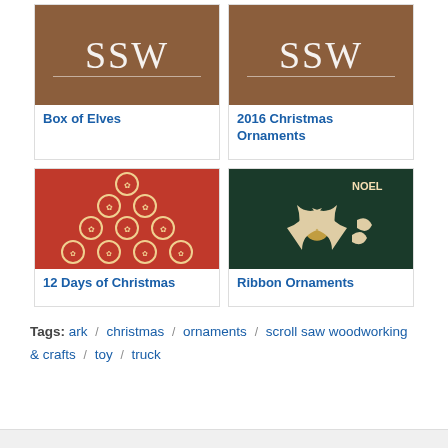[Figure (photo): SSW logo on wood background - Box of Elves product image]
Box of Elves
[Figure (photo): SSW logo on wood background - 2016 Christmas Ornaments product image]
2016 Christmas Ornaments
[Figure (photo): Twelve wooden circular Christmas ornaments on red background - 12 Days of Christmas]
12 Days of Christmas
[Figure (photo): Ribbon ornaments on dark green background with NOEL text]
Ribbon Ornaments
Tags: ark / christmas / ornaments / scroll saw woodworking & crafts / toy / truck